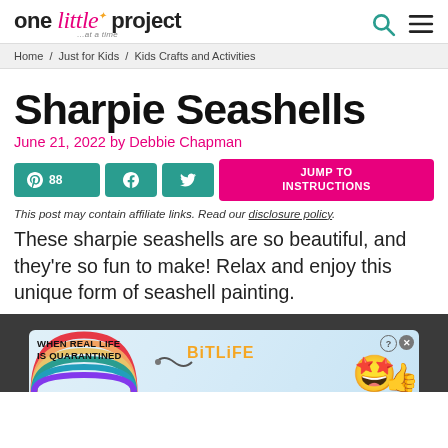one little project ...at a time
Home / Just for Kids / Kids Crafts and Activities
Sharpie Seashells
June 21, 2022 by Debbie Chapman
88 [Pinterest share] [Facebook share] [Twitter share] JUMP TO INSTRUCTIONS
This post may contain affiliate links. Read our disclosure policy.
These sharpie seashells are so beautiful, and they're so fun to make! Relax and enjoy this unique form of seashell painting.
[Figure (photo): Advertisement banner at bottom: dark background with BitLife game ad showing rainbow graphic, text 'WHEN REAL LIFE IS QUARANTINED', BitLife logo, emoji mascot character, and close button]